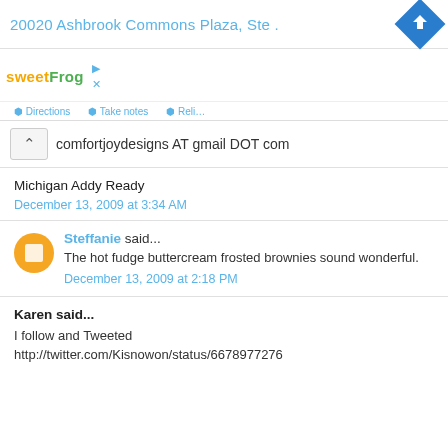20020 Ashbrook Commons Plaza, Ste .
[Figure (other): SweetFrog logo and navigation/ad bar with play and close icons]
comfortjoydesigns AT gmail DOT com
Michigan Addy Ready
December 13, 2009 at 3:34 AM
Steffanie said...
The hot fudge buttercream frosted brownies sound wonderful.
December 13, 2009 at 2:18 PM
Karen said...
I follow and Tweeted http://twitter.com/Kisnowon/status/6678977276